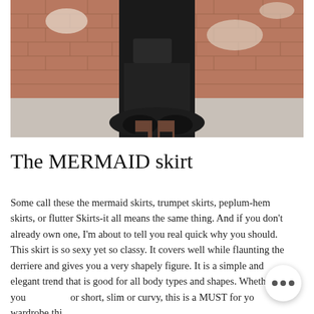[Figure (photo): A woman wearing a black crop top and black mermaid/trumpet skirt with tulle hem, standing against a distressed brick wall. She is holding a black clutch and wearing black lace-up heels. Only her torso and legs are visible.]
The MERMAID skirt
Some call these the mermaid skirts, trumpet skirts, peplum-hem skirts, or flutter Skirts-it all means the same thing. And if you don't already own one, I'm about to tell you real quick why you should. This skirt is so sexy yet so classy. It covers well while flaunting the derriere and gives you a very shapely figure. It is a simple and elegant trend that is good for all body types and shapes. Whether you or short, slim or curvy, this is a MUST for yo wardrobe thi